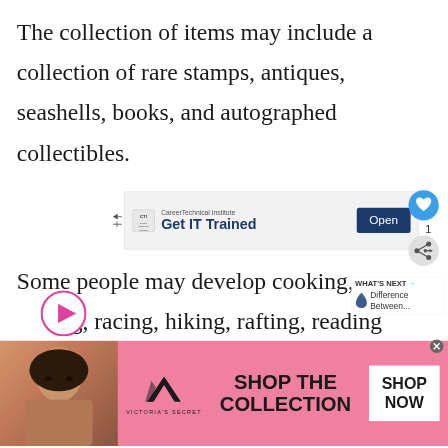The collection of items may include a collection of rare stamps, antiques, seashells, books, and autographed collectibles.
[Figure (screenshot): Advertisement banner for CareerTechnical Institute with logo, tagline 'Get IT Trained' and an 'Open' button]
Some people may develop cooking, [cycling], racing, hiking, rafting, reading novels and poems as one of their
[Figure (infographic): Pink circular play button overlay on text]
[Figure (infographic): Social interaction icons: heart icon with count 1, and share icon; 'WHAT'S NEXT → Difference Between...' label with blue teardrop icon]
[Figure (screenshot): Victoria's Secret advertisement banner with model photo, VS logo, 'SHOP THE COLLECTION' text and 'SHOP NOW' button. Close X button in corner.]